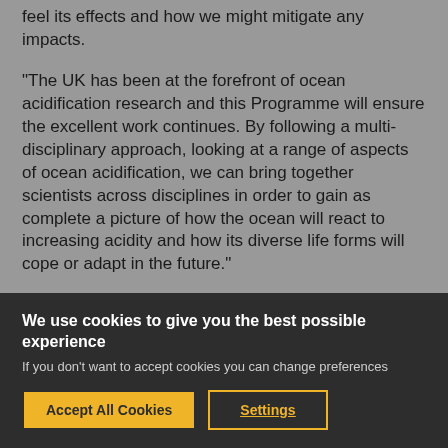feel its effects and how we might mitigate any impacts.
“The UK has been at the forefront of ocean acidification research and this Programme will ensure the excellent work continues. By following a multi-disciplinary approach, looking at a range of aspects of ocean acidification, we can bring together scientists across disciplines in order to gain as complete a picture of how the ocean will react to increasing acidity and how its diverse life forms will cope or adapt in the future."
Share This
We use cookies to give you the best possible experience
If you don't want to accept cookies you can change preferences